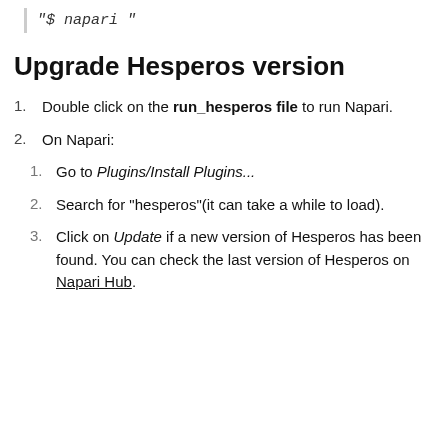"$ napari "
Upgrade Hesperos version
Double click on the run_hesperos file to run Napari.
On Napari:
Go to Plugins/Install Plugins...
Search for "hesperos"(it can take a while to load).
Click on Update if a new version of Hesperos has been found. You can check the last version of Hesperos on Napari Hub.